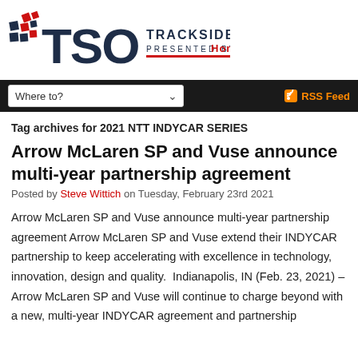[Figure (logo): TSO Trackside Online logo with hashtag/checkered flag motif in red and dark navy, presented by Honda]
Where to? [dropdown]   RSS Feed
Tag archives for 2021 NTT INDYCAR SERIES
Arrow McLaren SP and Vuse announce multi-year partnership agreement
Posted by Steve Wittich on Tuesday, February 23rd 2021
Arrow McLaren SP and Vuse announce multi-year partnership agreement Arrow McLaren SP and Vuse extend their INDYCAR partnership to keep accelerating with excellence in technology, innovation, design and quality.  Indianapolis, IN (Feb. 23, 2021) – Arrow McLaren SP and Vuse will continue to charge beyond with a new, multi-year INDYCAR agreement and partnership